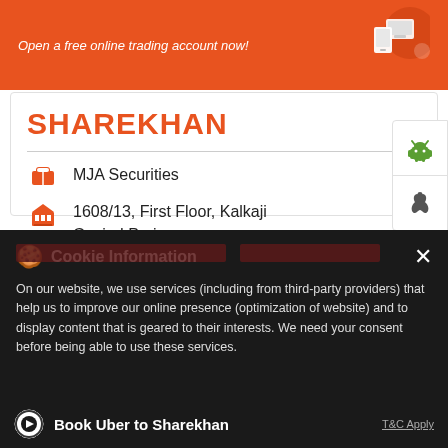[Figure (screenshot): Sharekhan website screenshot showing top orange banner with text 'Open a free online trading account now!' and trading device illustration]
SHAREKHAN
MJA Securities
1608/13, First Floor, Kalkaji
Govind Puri
New Delhi - 110019
Closed for the day
Cookie Information
On our website, we use services (including from third-party providers) that help us to improve our online presence (optimization of website) and to display content that is geared to their interests. We need your consent before being able to use these services.
Book Uber to Sharekhan
T&C Apply